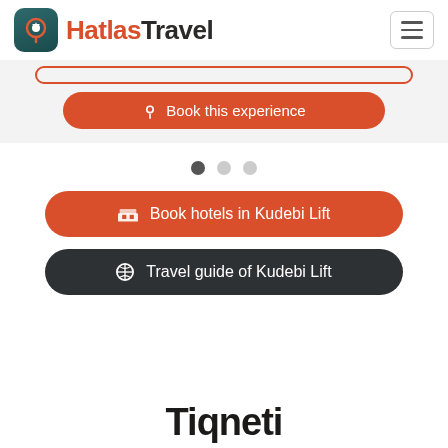[Figure (logo): Hatlas Travel logo with icon and text]
Book this experience
Book hotels in Kudebi Lift
Travel guide of Kudebi Lift
Tiqneti